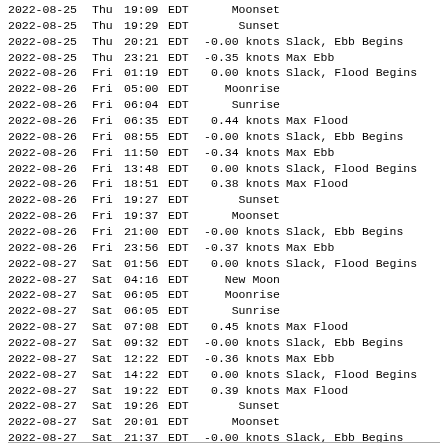| Date | Day | Time | TZ | Speed | Event |
| --- | --- | --- | --- | --- | --- |
| 2022-08-25 | Thu | 19:09 | EDT | Moonset |  |
| 2022-08-25 | Thu | 19:29 | EDT | Sunset |  |
| 2022-08-25 | Thu | 20:21 | EDT | -0.00 knots | Slack, Ebb Begins |
| 2022-08-25 | Thu | 23:21 | EDT | -0.35 knots | Max Ebb |
| 2022-08-26 | Fri | 01:19 | EDT | 0.00 knots | Slack, Flood Begins |
| 2022-08-26 | Fri | 05:00 | EDT | Moonrise |  |
| 2022-08-26 | Fri | 06:04 | EDT | Sunrise |  |
| 2022-08-26 | Fri | 06:35 | EDT | 0.44 knots | Max Flood |
| 2022-08-26 | Fri | 08:55 | EDT | -0.00 knots | Slack, Ebb Begins |
| 2022-08-26 | Fri | 11:50 | EDT | -0.34 knots | Max Ebb |
| 2022-08-26 | Fri | 13:48 | EDT | 0.00 knots | Slack, Flood Begins |
| 2022-08-26 | Fri | 18:51 | EDT | 0.38 knots | Max Flood |
| 2022-08-26 | Fri | 19:27 | EDT | Sunset |  |
| 2022-08-26 | Fri | 19:37 | EDT | Moonset |  |
| 2022-08-26 | Fri | 21:00 | EDT | -0.00 knots | Slack, Ebb Begins |
| 2022-08-26 | Fri | 23:56 | EDT | -0.37 knots | Max Ebb |
| 2022-08-27 | Sat | 01:56 | EDT | 0.00 knots | Slack, Flood Begins |
| 2022-08-27 | Sat | 04:16 | EDT | New Moon |  |
| 2022-08-27 | Sat | 06:05 | EDT | Moonrise |  |
| 2022-08-27 | Sat | 06:05 | EDT | Sunrise |  |
| 2022-08-27 | Sat | 07:08 | EDT | 0.45 knots | Max Flood |
| 2022-08-27 | Sat | 09:32 | EDT | -0.00 knots | Slack, Ebb Begins |
| 2022-08-27 | Sat | 12:22 | EDT | -0.36 knots | Max Ebb |
| 2022-08-27 | Sat | 14:22 | EDT | 0.00 knots | Slack, Flood Begins |
| 2022-08-27 | Sat | 19:22 | EDT | 0.39 knots | Max Flood |
| 2022-08-27 | Sat | 19:26 | EDT | Sunset |  |
| 2022-08-27 | Sat | 20:01 | EDT | Moonset |  |
| 2022-08-27 | Sat | 21:37 | EDT | -0.00 knots | Slack, Ebb Begins |